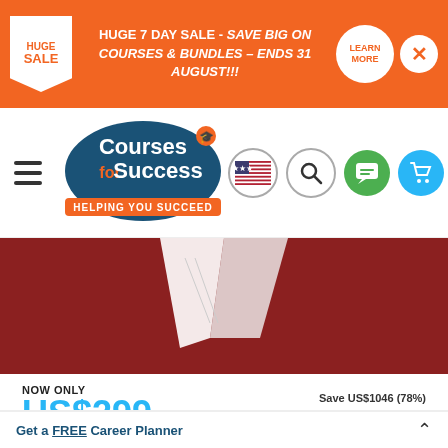HUGE 7 DAY SALE - SAVE BIG ON COURSES & BUNDLES – ENDS 31 AUGUST!!!
[Figure (logo): Courses for Success logo with text 'Helping You Succeed']
[Figure (photo): Dark red background with white book pages visible at top]
NOW ONLY
US$299
Save US$1046 (78%) OFF RRP US$1345
Add to Cart
Get Info Pack
Get a FREE Career Planner